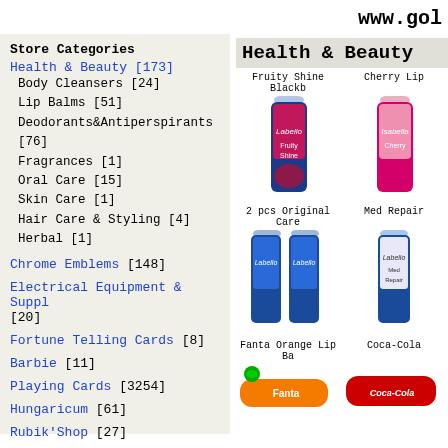www.gol
Store Categories
Health & Beauty [173]
Body Cleansers [24]
Lip Balms [51]
Deodorants&Antiperspirants [76]
Fragrances [1]
Oral Care [15]
Skin Care [1]
Hair Care & Styling [4]
Herbal [1]
Chrome Emblems [148]
Electrical Equipment & Suppl [20]
Fortune Telling Cards [8]
Barbie [11]
Playing Cards [3254]
Hungaricum [61]
Rubik'Shop [27]
Food & Beverages [26]
Health & Beauty
Fruity Shine Blackb
Cherry Lip
[Figure (photo): Labello Fruity Shine lip balm product image]
[Figure (photo): Cherry lip balm product image (partially cut off)]
2 pcs Original Care
Med Repair
[Figure (photo): 2 pcs Labello Original Care lip balm product image]
[Figure (photo): Med Repair Labello lip balm product image (partially cut off)]
Fanta Orange Lip Ba
Coca-Cola
[Figure (photo): Fanta Orange lip balm product image]
[Figure (photo): Coca-Cola lip balm product image (partially cut off)]